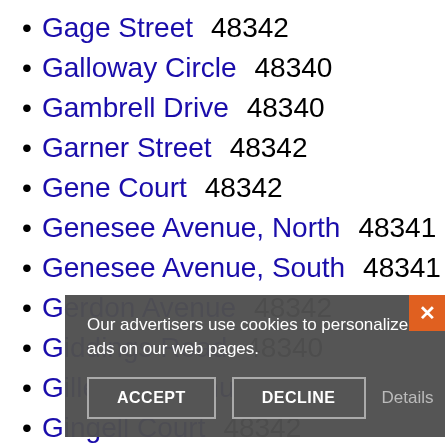Gage Street  48342
Galloway Circle  48340
Gambrell Drive  48340
Garner Street  48342
Gene Court  48342
Genesee Avenue, North  48341
Genesee Avenue, South  48341
Gerdon Avenue  48342
Giddings Road  48340
Gillespie Avenue  48341
Gingell Court  48342
Gladstone Place  48342
Glendale Avenue  48341